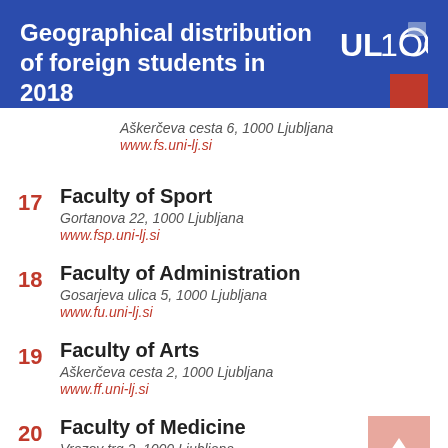Geographical distribution of foreign students in 2018
Aškerčeva cesta 6, 1000 Ljubljana
www.fs.uni-lj.si
17 Faculty of Sport
Gortanova 22, 1000 Ljubljana
www.fsp.uni-lj.si
18 Faculty of Administration
Gosarjeva ulica 5, 1000 Ljubljana
www.fu.uni-lj.si
19 Faculty of Arts
Aškerčeva cesta 2, 1000 Ljubljana
www.ff.uni-lj.si
20 Faculty of Medicine
Vrazov trg 2, 1000 Ljubljana
www.mf.uni-lj.si